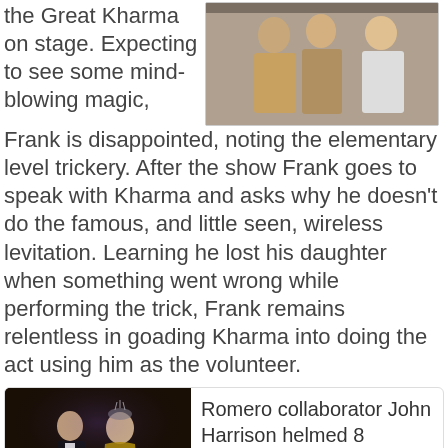the Great Kharma on stage. Expecting to see some mind-blowing magic, Frank is disappointed, noting the elementary level trickery. After the show Frank goes to speak with Kharma and asks why he doesn't do the famous, and little seen, wireless levitation. Learning he lost his daughter when something went wrong while performing the trick, Frank remains relentless in goading Kharma into doing the act using him as the volunteer.
[Figure (photo): Two people standing together, photographed indoors]
[Figure (photo): Man in tuxedo on stage with a woman in a sparkling outfit, dark background]
Romero collaborator John Harrison helmed 8 episodes of